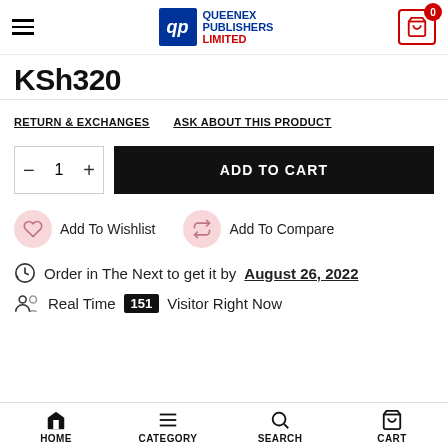Queenex Publishers Limited
KSh320
RETURN & EXCHANGES   ASK ABOUT THIS PRODUCT
ADD TO CART (quantity: 1)
Add To Wishlist   Add To Compare
Order in The Next to get it by August 26, 2022
Real Time 151 Visitor Right Now
HOME   CATEGORY   SEARCH   CART